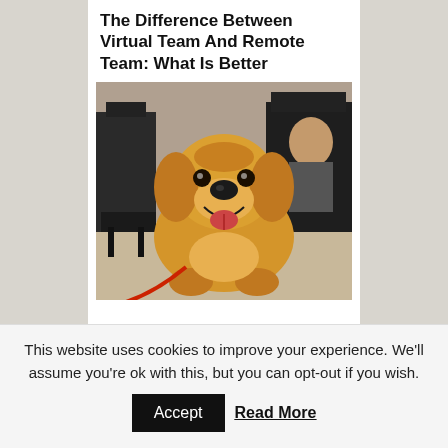The Difference Between Virtual Team And Remote Team: What Is Better
[Figure (photo): A golden retriever dog sitting and smiling in what appears to be an office or café environment with dark chairs in the background and a person partially visible.]
This website uses cookies to improve your experience. We'll assume you're ok with this, but you can opt-out if you wish.
Accept   Read More